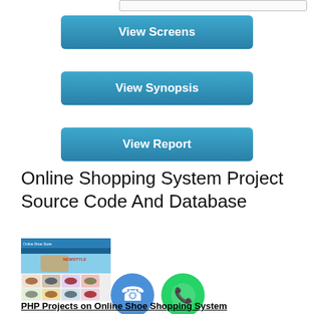[Figure (screenshot): Small input/search bar at the top right of the page]
View Screens
View Synopsis
View Report
Online Shopping System Project Source Code And Database
[Figure (screenshot): Thumbnail screenshot of an online shoe shopping website with product images]
[Figure (other): Blue phone call icon circle]
[Figure (other): Green WhatsApp icon circle]
PHP Projects on Online Shoe Shopping System